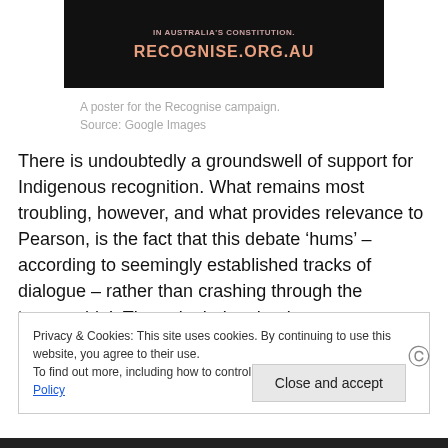[Figure (illustration): Black poster with text 'IN AUSTRALIA'S CONSTITUTION.' in faded red/pink and 'RECOGNISE.ORG.AU' in orange bold letters on dark background.]
A poster for the Recognise campaign.
Source: Google Images
There is undoubtedly a groundswell of support for Indigenous recognition. What remains most troubling, however, and what provides relevance to Pearson, is the fact that this debate ‘hums’ – according to seemingly established tracks of dialogue – rather than crashing through the ‘acceptable’. The point being that it appears to
Privacy & Cookies: This site uses cookies. By continuing to use this website, you agree to their use.
To find out more, including how to control cookies, see here: Cookie Policy
Close and accept